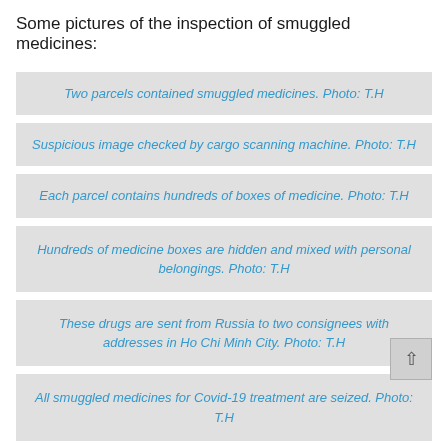Some pictures of the inspection of smuggled medicines:
Two parcels contained smuggled medicines. Photo: T.H
Suspicious image checked by cargo scanning machine. Photo: T.H
Each parcel contains hundreds of boxes of medicine. Photo: T.H
Hundreds of medicine boxes are hidden and mixed with personal belongings. Photo: T.H
These drugs are sent from Russia to two consignees with addresses in Ho Chi Minh City. Photo: T.H
All smuggled medicines for Covid-19 treatment are seized. Photo: T.H